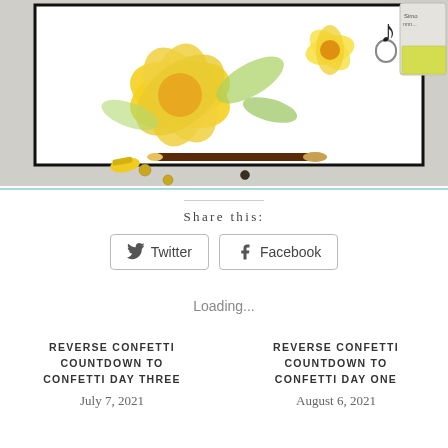[Figure (photo): Craft/cardmaking scene showing a handmade card with yellow floral design and black border, art tools including a brown-handled brush, yellow paint tube, gold brad embellishments, and a yellow ink pad partially visible in top-right corner, on a light gray background.]
Share this:
Twitter
Facebook
Loading...
REVERSE CONFETTI COUNTDOWN TO CONFETTI DAY THREE
July 7, 2021
REVERSE CONFETTI COUNTDOWN TO CONFETTI DAY ONE
August 6, 2021